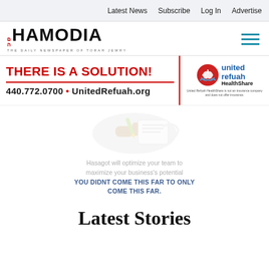Latest News  Subscribe  Log In  Advertise
[Figure (logo): Hamodia logo - The Daily Newspaper of Torah Jewry, with hamburger menu icon]
[Figure (infographic): United Refuah HealthShare advertisement: THERE IS A SOLUTION! 440.772.0700 • UnitedRefuah.org with United Refuah HealthShare logo]
[Figure (infographic): Hasagot advertisement with faded image of hand writing and text: Hasagot will optimize your team to maximize your business's potential. YOU DIDNT COME THIS FAR TO ONLY COME THIS FAR.]
Latest Stories